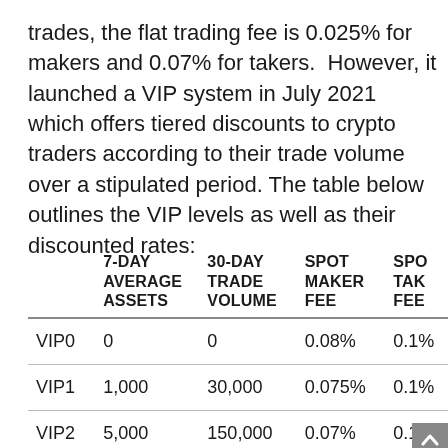trades, the flat trading fee is 0.025% for makers and 0.07% for takers.  However, it launched a VIP system in July 2021 which offers tiered discounts to crypto traders according to their trade volume over a stipulated period. The table below outlines the VIP levels as well as their discounted rates:
| LEVEL | 7-DAY AVERAGE ASSETS | 30-DAY TRADE VOLUME | SPOT MAKER FEE | SPOT TAKER FEE |
| --- | --- | --- | --- | --- |
| VIP0 | 0 | 0 | 0.08% | 0.1% |
| VIP1 | 1,000 | 30,000 | 0.075% | 0.1% |
| VIP2 | 5,000 | 150,000 | 0.07% | 0.1% |